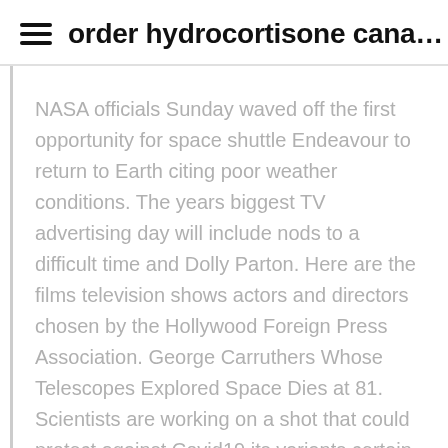≡ order hydrocortisone cana…
NASA officials Sunday waved off the first opportunity for space shuttle Endeavour to return to Earth citing poor weather conditions. The years biggest TV advertising day will include nods to a difficult time and Dolly Parton. Here are the films television shows actors and directors chosen by the Hollywood Foreign Press Association. George Carruthers Whose Telescopes Explored Space Dies at 81. Scientists are working on a shot that could protect against Covid19 its variants certain seasonal colds and the next coronavirus pandemic. Greek god leaves Australian Open audience in stitches during a VERY awkward